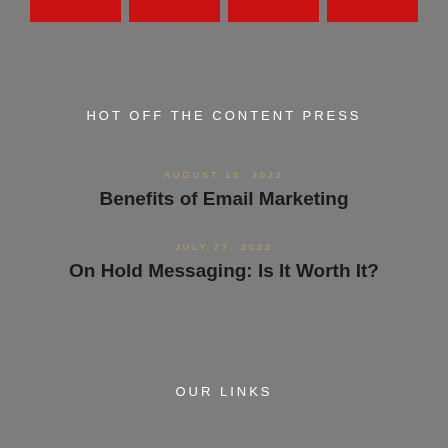[Figure (other): Four red horizontal bars arranged in a row at the top of the page]
HOT OFF THE CONTENT PRESS
AUGUST 15, 2022
Benefits of Email Marketing
JULY 27, 2022
On Hold Messaging: Is It Worth It?
OUR LINKS